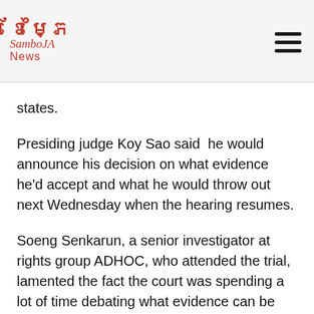ខែម្ភៃ SamboJA News (logo) + hamburger menu
states.
Presiding judge Koy Sao said he would announce his decision on what evidence he’d accept and what he would throw out next Wednesday when the hearing resumes.
Soeng Senkarun, a senior investigator at rights group ADHOC, who attended the trial, lamented the fact the court was spending a lot of time debating what evidence can be submitted, causing a delay to further proceedings.
“It took a lot of time to discuss the evidence, and we